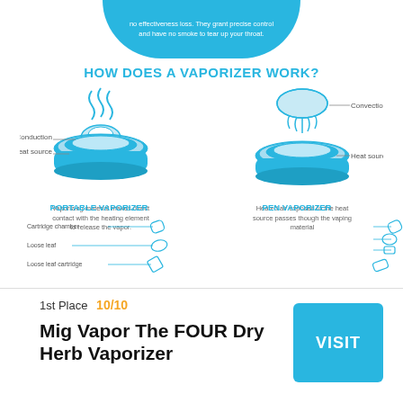no effectiveness loss. They grant precise control and have no smoke to tear up your throat.
HOW DOES A VAPORIZER WORK?
[Figure (infographic): Two diagrams showing conduction and convection vaporizer heating methods with labels: Conduction, Heat source on left; Convection, Heat source on right. Below: Portable Vaporizer and Pen Vaporizer component diagrams.]
Vaporizing material makes direct contact with the heating element to release the vapor.
Heated air exposed to the heat source passes though the vaping material
1st Place   10/10
Mig Vapor The FOUR Dry Herb Vaporizer